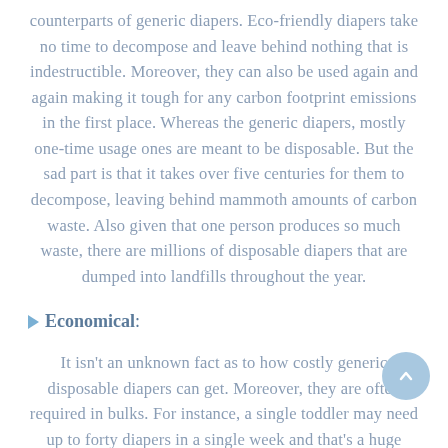counterparts of generic diapers. Eco-friendly diapers take no time to decompose and leave behind nothing that is indestructible. Moreover, they can also be used again and again making it tough for any carbon footprint emissions in the first place. Whereas the generic diapers, mostly one-time usage ones are meant to be disposable. But the sad part is that it takes over five centuries for them to decompose, leaving behind mammoth amounts of carbon waste. Also given that one person produces so much waste, there are millions of disposable diapers that are dumped into landfills throughout the year.
Economical:
It isn't an unknown fact as to how costly generic disposable diapers can get. Moreover, they are often required in bulks. For instance, a single toddler may need up to forty diapers in a single week and that's a huge amount. With eco-friendly diapers they are heavily beneficial for you as you